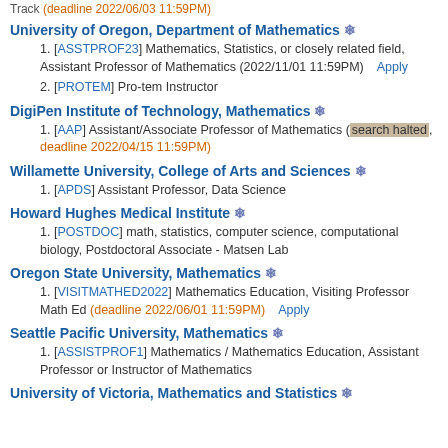Track (deadline 2022/06/03 11:59PM)
University of Oregon, Department of Mathematics ❄
[ASSTPROF23] Mathematics, Statistics, or closely related field, Assistant Professor of Mathematics (2022/11/01 11:59PM) Apply
[PROTEM] Pro-tem Instructor
DigiPen Institute of Technology, Mathematics ❄
[AAP] Assistant/Associate Professor of Mathematics (search halted, deadline 2022/04/15 11:59PM)
Willamette University, College of Arts and Sciences ❄
[APDS] Assistant Professor, Data Science
Howard Hughes Medical Institute ❄
[POSTDOC] math, statistics, computer science, computational biology, Postdoctoral Associate - Matsen Lab
Oregon State University, Mathematics ❄
[VISITMATHED2022] Mathematics Education, Visiting Professor Math Ed (deadline 2022/06/01 11:59PM) Apply
Seattle Pacific University, Mathematics ❄
[ASSISTPROF1] Mathematics / Mathematics Education, Assistant Professor or Instructor of Mathematics
University of Victoria, Mathematics and Statistics ❄